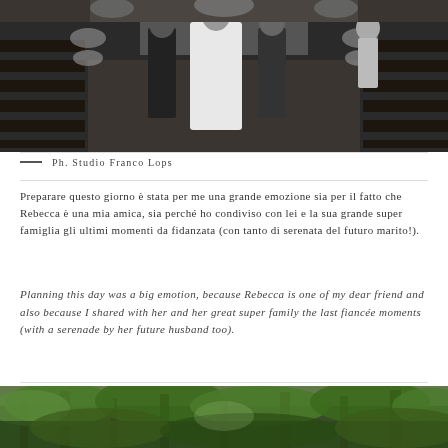[Figure (photo): Black and white wedding photo showing a bride in a white dress walking down the church aisle with two people (likely family/escort) on either side, church pews decorated with flowers visible on both sides.]
— Ph. Studio Franco Lops
Preparare questo giorno è stata per me una grande emozione sia per il fatto che Rebecca è una mia amica, sia perché ho condiviso con lei e la sua grande super famiglia gli ultimi momenti da fidanzata (con tanto di serenata del futuro marito!).
Planning this day was a big emotion, because Rebecca is one of my dear friend and also because I shared with her and her great super family the last fiancée moments (with a serenade by her future husband too).
[Figure (photo): Color photo of a lush green forest/woodland scene with trees and foliage.]